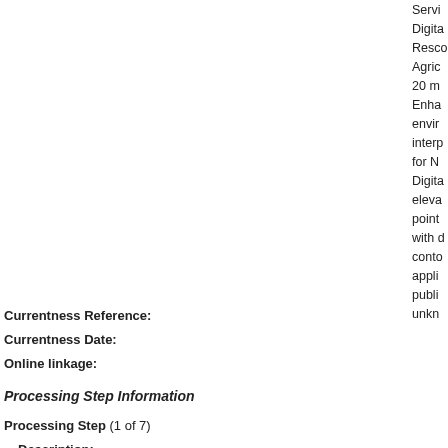Service Digital Resource Agriculture 20 m Enhanced environment interpretation for N Digital elevation point with d contour application publication unknown
Currentness Reference:
Currentness Date:
Online linkage:
Processing Step Information
Processing Step (1 of 7)
Description:
The f creat with r refer creat ME 5
Software and Version:
ArcIn